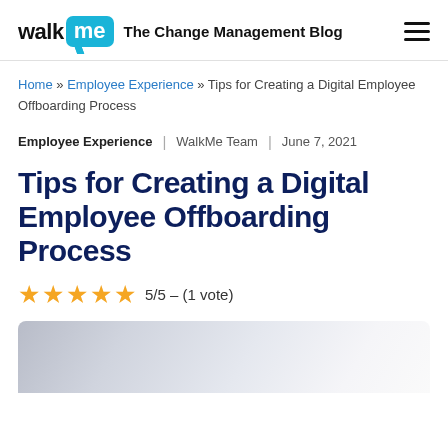walk me The Change Management Blog
Home » Employee Experience » Tips for Creating a Digital Employee Offboarding Process
Employee Experience | WalkMe Team | June 7, 2021
Tips for Creating a Digital Employee Offboarding Process
5/5 – (1 vote)
[Figure (photo): Hero image showing a desk scene, partially visible at bottom of page]